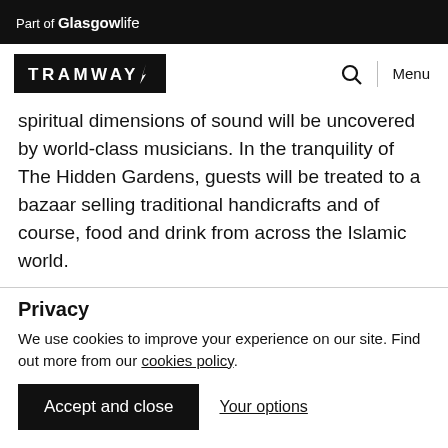Part of GlasgowLife
[Figure (logo): Tramway logo - white text on black background with stylized lightning bolt]
spiritual dimensions of sound will be uncovered by world-class musicians. In the tranquility of The Hidden Gardens, guests will be treated to a bazaar selling traditional handicrafts and of course, food and drink from across the Islamic world.
Privacy
We use cookies to improve your experience on our site. Find out more from our cookies policy.
Accept and close   Your options